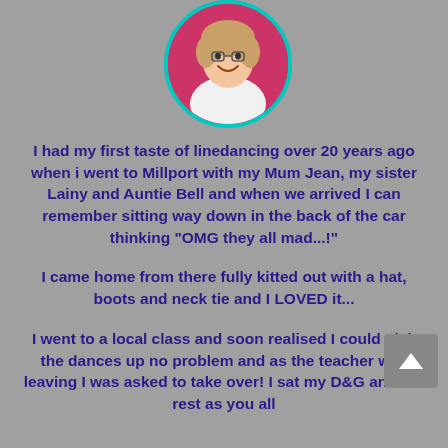[Figure (photo): Circular profile photo of a woman smiling, wearing a white top, with a pink/magenta background, framed by a teal/turquoise circular border.]
I had my first taste of linedancing over 20 years ago when i went to Millport with my Mum Jean, my sister Lainy and Auntie Bell and when we arrived I can remember sitting way down in the back of the car thinking "OMG they all mad...!"
I came home from there fully kitted out with a hat, boots and neck tie and I LOVED it...
I went to a local class and soon realised I could pick the dances up no problem and as the teacher was leaving I was asked to take over! I sat my D&G and the rest as you all